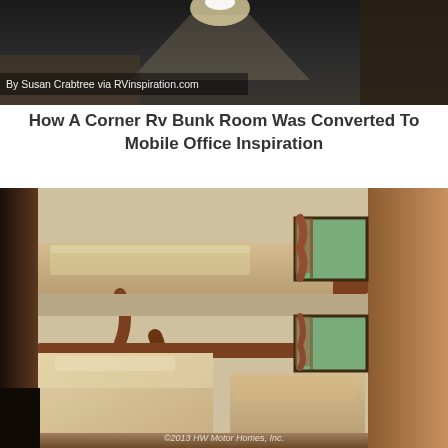[Figure (photo): Top portion of an RV interior photo showing ceiling and dark background, with caption overlay 'By Susan Crabtree via RVinspiration.com']
How A Corner Rv Bunk Room Was Converted To Mobile Office Inspiration
[Figure (photo): Interior photo of an RV corner bunk room showing two bunk beds with wooden frames and tan mattresses, windows with curtains on the right side, wood paneling walls. Watermark text reads '©2013 HW Motor Homes, Inc.']